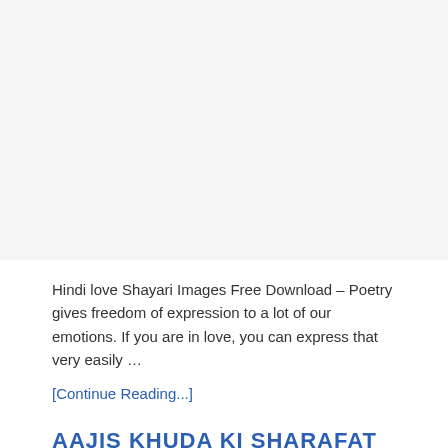[Figure (other): Blank/white advertisement or image placeholder area at the top of the page]
Hindi love Shayari Images Free Download – Poetry gives freedom of expression to a lot of our emotions. If you are in love, you can express that very easily …
[Continue Reading...]
AAJIS KHUDA KI SHARAFAT